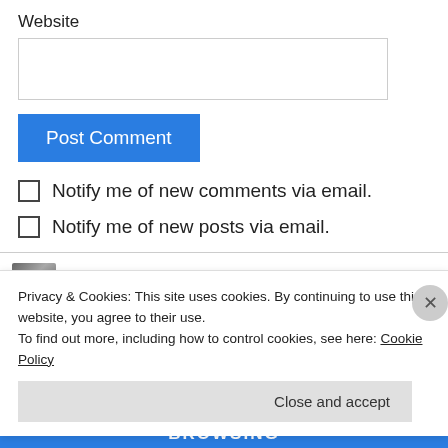Website
[Figure (screenshot): Empty text input field for website URL]
Post Comment
Notify me of new comments via email.
Notify me of new posts via email.
easprem on November 24, 2012 at 3:19 pm
Privacy & Cookies: This site uses cookies. By continuing to use this website, you agree to their use.
To find out more, including how to control cookies, see here: Cookie Policy
Close and accept